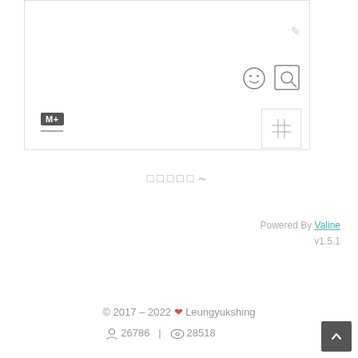[Figure (screenshot): Comment/editor card with toolbar icons: edit pencil, emoji smiley face, image search icon, markdown badge (M+), horizontal line, and a grid/table button]
□□□□□～
Powered By Valine v1.5.1
© 2017 – 2022 ♥ Leungyukshing  26786 | 28518